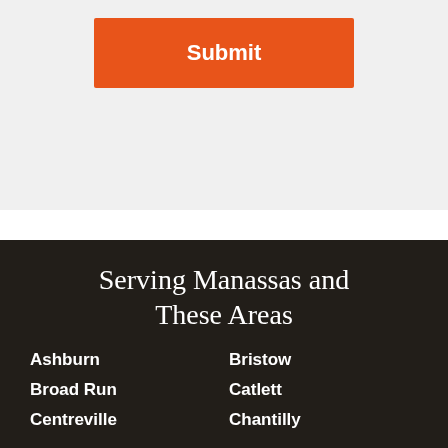[Figure (other): Orange Submit button on light gray form background]
Serving Manassas and These Areas
Ashburn
Bristow
Broad Run
Catlett
Centreville
Chantilly